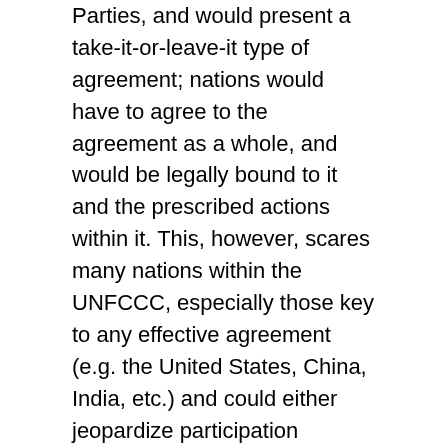Parties, and would present a take-it-or-leave-it type of agreement; nations would have to agree to the agreement as a whole, and would be legally bound to it and the prescribed actions within it. This, however, scares many nations within the UNFCCC, especially those key to any effective agreement (e.g. the United States, China, India, etc.) and could either jeopardize participation because it's too stringent or stringency because countries would only sign on to an agreement that was not as aggressive as it could have and/or should have been. While it has produced success in the Kyoto Protocol, there are also hindrances inherently built into the approach that limit its effectiveness.
On the other hand, the Cancun architecture was born in response to the top-down approach taken with the Kyoto Protocol and advocated a bottom-up approach that placed national governments as the vanguards against the effects of climate change. Rather than having